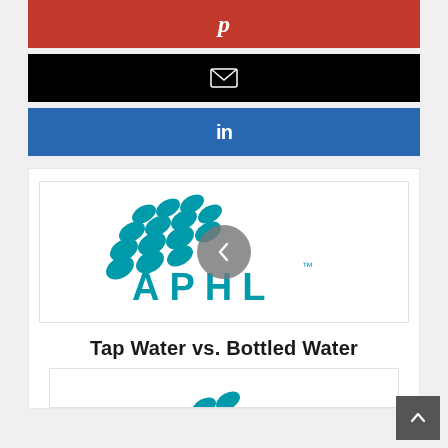[Figure (logo): Pinterest share button (red background with Pinterest 'p' icon in white)]
[Figure (logo): Email share button (black background with email envelope icon in white)]
[Figure (logo): LinkedIn share button (blue background with LinkedIn 'in' icon in white)]
[Figure (logo): APHL logo — teal water droplet dots pattern above text 'APHL' with trademark symbol, overlaid by a gray circular back navigation button with left chevron]
Tap Water vs. Bottled Water
[Figure (logo): Bottom portion of APHL logo partially visible (teal droplet dots)]